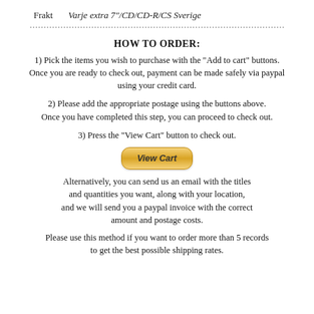Frakt    Varje extra 7"/CD/CD-R/CS Sverige
HOW TO ORDER:
1) Pick the items you wish to purchase with the "Add to cart" buttons. Once you are ready to check out, payment can be made safely via paypal using your credit card.
2) Please add the appropriate postage using the buttons above. Once you have completed this step, you can proceed to check out.
3) Press the "View Cart" button to check out.
[Figure (other): View Cart button — a rounded rectangular button with gradient gold/yellow background and bold italic text 'View Cart']
Alternatively, you can send us an email with the titles and quantities you want, along with your location, and we will send you a paypal invoice with the correct amount and postage costs.
Please use this method if you want to order more than 5 records to get the best possible shipping rates.